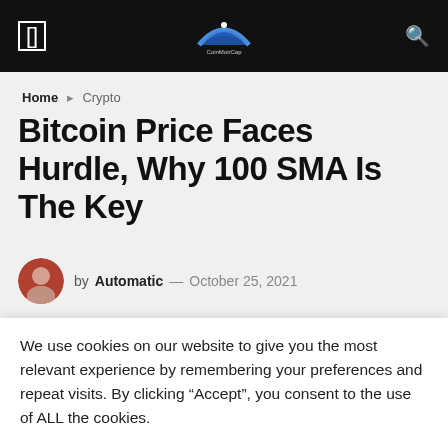CoinMoirCap logo navigation bar
Home ▸ Crypto
Bitcoin Price Faces Hurdle, Why 100 SMA Is The Key
by Automatic — October 25, 2021
[Figure (photo): White placeholder image box below the article header]
We use cookies on our website to give you the most relevant experience by remembering your preferences and repeat visits. By clicking “Accept”, you consent to the use of ALL the cookies.